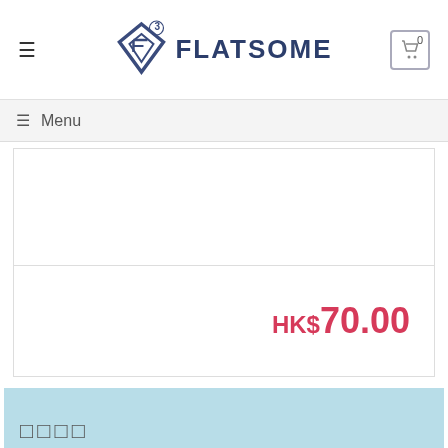FLATSOME
≡ Menu
|  | HK$70.00 |
[Figure (other): Light blue section with Chinese characters at the bottom left]
□□□□